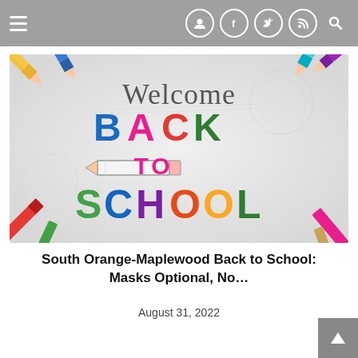Navigation bar with hamburger menu and social icons
[Figure (illustration): Welcome Back to School illustration with colorful pencils arranged around colorful block letters spelling 'Welcome BACK TO SCHOOL' on a light grey/white background. Letters are in blue, pink, red, green, and other bright colors. A pencil illustration appears between TO and SCHOOL text.]
South Orange-Maplewood Back to School: Masks Optional, No...
August 31, 2022